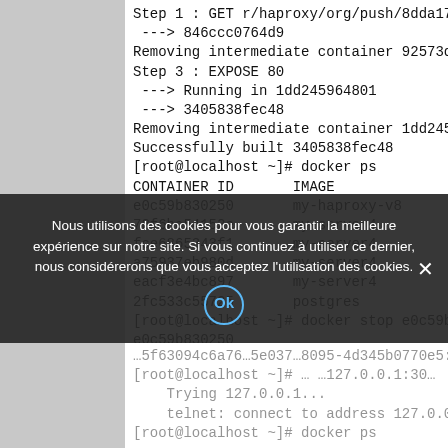Step 1 : GET r/haproxy/org/push/8dda17...
 ---> 846ccc0764d9
Removing intermediate container 92573d92...
Step 3 : EXPOSE 80
 ---> Running in 1dd245964801
 ---> 3405838fec48
Removing intermediate container 1dd24596...
Successfully built 3405838fec48
[root@localhost ~]# docker ps
CONTAINER ID       IMAGE              C
e0c59b830250       my-haproxy-v8      '
78f6bc54152e       my-server4         '
fce6865343f1       my-server4         '
a75937eb980d       my-server4         '
eacf3e4bc897       my-server4         '
2fc533c55725       postgres           '
[root@localhost ~]# docker stop e0c59b83...
e0c59b830250
Nous utilisons des cookies pour vous garantir la meilleure expérience sur notre site. Si vous continuez à utiliser ce dernier, nous considérerons que vous acceptez l'utilisation des cookies.
Trying 127.0.0.1...
telnet: connect to address 127.0.0.1: Con
[root@localhost ~]# docker ps